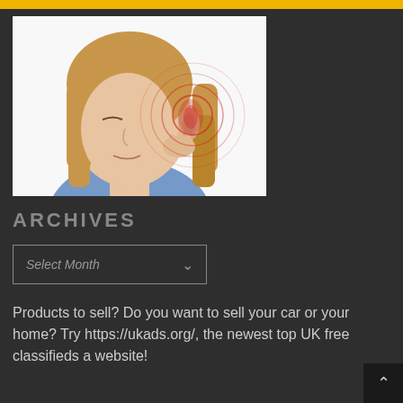[Figure (photo): Woman with long blonde hair touching her ear, with red concentric circles around the ear suggesting tinnitus or ear pain, on a white background]
ARCHIVES
Select Month
Products to sell? Do you want to sell your car or your home? Try https://ukads.org/, the newest top UK free classifieds a website!